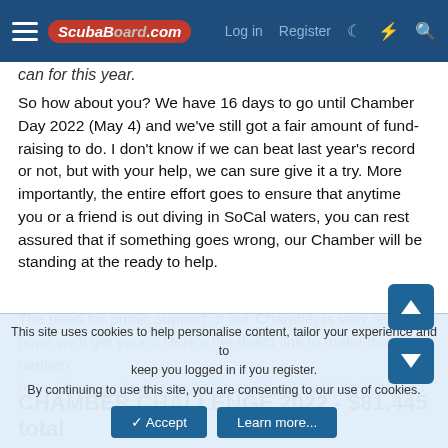ScubaBoard.com | Log in | Register
can for this year.
So how about you? We have 16 days to go until Chamber Day 2022 (May 4) and we've still got a fair amount of fund-raising to do. I don't know if we can beat last year's record or not, but with your help, we can sure give it a try. More importantly, the entire effort goes to ensure that anytime you or a friend is out diving in SoCal waters, you can rest assured that if something goes wrong, our Chamber will be standing at the ready to help.
The need for public support of our Chamber is very real. We hope we'll get yours. Here's the direct link to make that happen: https://usc.qualtrics.com/jfe/form/SV_cTKwbhUykVzL95Q
CHAMBER CHALLENGE 2022 - $81,445 total
This site uses cookies to help personalise content, tailor your experience and to keep you logged in if you register. By continuing to use this site, you are consenting to our use of cookies.